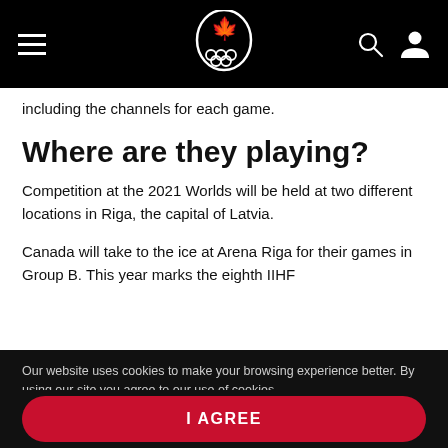[Canadian Olympic Committee navigation bar with hamburger menu, logo, search icon, and user icon]
including the channels for each game.
Where are they playing?
Competition at the 2021 Worlds will be held at two different locations in Riga, the capital of Latvia.
Canada will take to the ice at Arena Riga for their games in Group B. This year marks the eighth IIHF
Our website uses cookies to make your browsing experience better. By using our site you agree to our use of cookies.
I AGREE